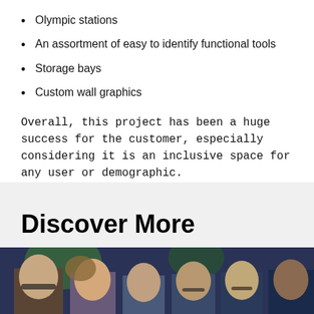Olympic stations
An assortment of easy to identify functional tools
Storage bays
Custom wall graphics
Overall, this project has been a huge success for the customer, especially considering it is an inclusive space for any user or demographic.
Discover More
[Figure (photo): Row of people's heads/faces photographed from roughly neck up, showing multiple individuals side by side against a dark blue background with some green foliage visible]